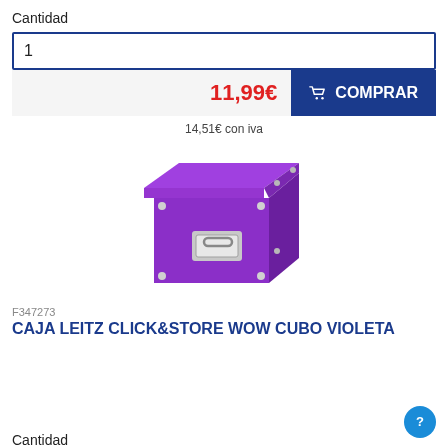Cantidad
1
11,99€
COMPRAR
14,51€ con iva
[Figure (photo): Purple Leitz Click&Store WOW cube storage box with metallic handle and corner clips]
F347273
CAJA LEITZ CLICK&STORE WOW CUBO VIOLETA
Cantidad